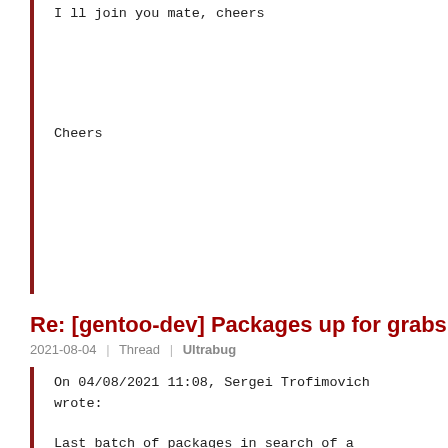I ll join you mate, cheers
Cheers
Re: [gentoo-dev] Packages up for grabs
2021-08-04 | Thread | Ultrabug
On 04/08/2021 11:08, Sergei Trofimovich wrote:

Last batch of packages in search of a dedicated maintainer: